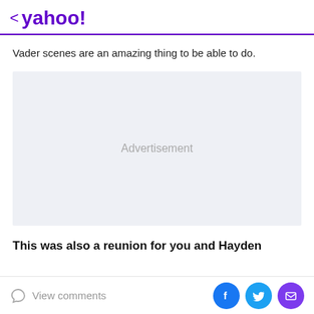< yahoo!
Vader scenes are an amazing thing to be able to do.
[Figure (other): Advertisement placeholder box with light gray background and centered 'Advertisement' label]
This was also a reunion for you and Hayden
View comments